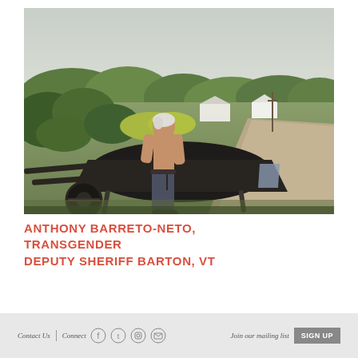[Figure (photo): A shirtless person with white/grey hair stands outdoors next to a black wheelbarrow on a rural gravel road, with green trees and grass, a barn building, a white house, and power lines visible in the background under an overcast sky.]
ANTHONY BARRETO-NETO, TRANSGENDER DEPUTY SHERIFF BARTON, VT
Contact Us  Connect  [social icons: Facebook, Twitter, Instagram, Email]  Join our mailing list  SIGN UP